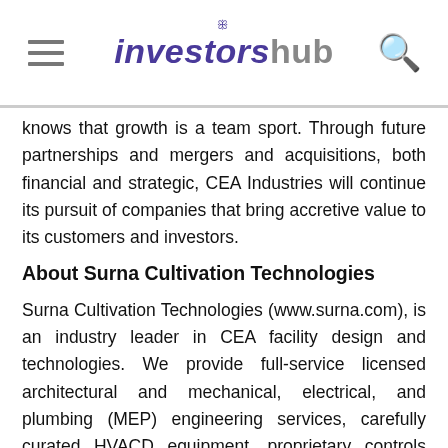investorsHub
knows that growth is a team sport. Through future partnerships and mergers and acquisitions, both financial and strategic, CEA Industries will continue its pursuit of companies that bring accretive value to its customers and investors.
About Surna Cultivation Technologies
Surna Cultivation Technologies (www.surna.com), is an industry leader in CEA facility design and technologies. We provide full-service licensed architectural and mechanical, electrical, and plumbing (MEP) engineering services, carefully curated HVACD equipment, proprietary controls systems, air sanitization, lighting, and benching and racking products. Our team of project managers, licensed professional architects and engineers, technology and horticulture specialists and systems integrations experts